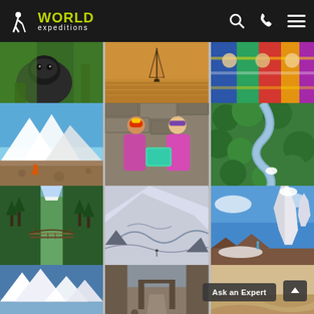[Figure (screenshot): World Expeditions website header navigation bar with logo, search icon, phone icon, and hamburger menu on dark background]
[Figure (photo): Grid of 12 travel/adventure photos showing gorilla in jungle, sailboat on golden water, colorful traditional clothing, hiker in mountain valley, two women sharing tablet, aerial view of forest river, alpine valley with bridge, snowy mountain glacier, dramatic mountain peak (Cerro Torre style), snowy mountain peak, rocky canyon/ruins, and desert landscape. Includes 'Ask an Expert' button overlay and scroll-to-top arrow button at bottom right.]